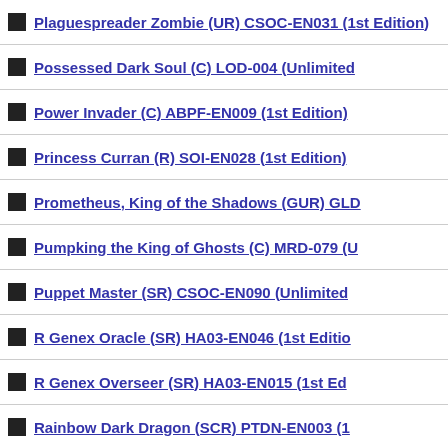Plaguespreader Zombie (UR) CSOC-EN031 (1st Edition)
Possessed Dark Soul (C) LOD-004 (Unlimited)
Power Invader (C) ABPF-EN009 (1st Edition)
Princess Curran (R) SOI-EN028 (1st Edition)
Prometheus, King of the Shadows (GUR) GLD
Pumpking the King of Ghosts (C) MRD-079 (U
Puppet Master (SR) CSOC-EN090 (Unlimited
R Genex Oracle (SR) HA03-EN046 (1st Editio
R Genex Overseer (SR) HA03-EN015 (1st Ed
Rainbow Dark Dragon (SCR) PTDN-EN003 (1
Rapid Fire Magician (C) SD6-EN016 (1st Editi
Rare Metal Dragon (C) EP1-EN004 (Unlimited